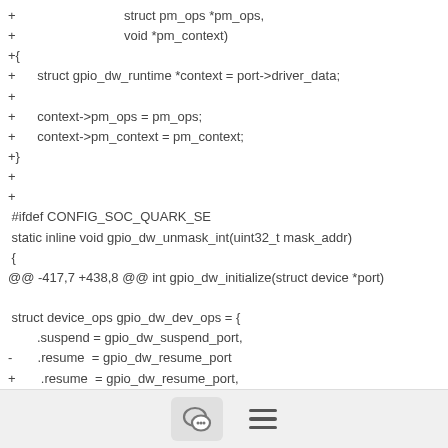+                              struct pm_ops *pm_ops,
+                              void *pm_context)
+{
+      struct gpio_dw_runtime *context = port->driver_data;
+
+      context->pm_ops = pm_ops;
+      context->pm_context = pm_context;
+}
+
+
 #ifdef CONFIG_SOC_QUARK_SE
 static inline void gpio_dw_unmask_int(uint32_t mask_addr)
 {
@@ -417,7 +438,8 @@ int gpio_dw_initialize(struct device *port)

 struct device_ops gpio_dw_dev_ops = {
        .suspend = gpio_dw_suspend_port,
-       .resume  = gpio_dw_resume_port
+       .resume  = gpio_dw_resume_port,
[Figure (other): Footer bar with chat bubble icon button and hamburger menu icon]